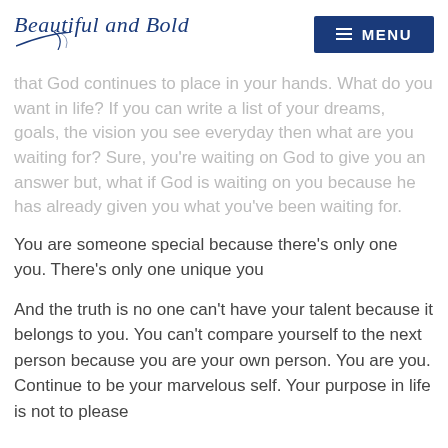Beautiful and Bold | MENU
that God continues to place in your hands. What do you want in life? If you can write a list of your dreams, goals, the vision you see everyday then what are you waiting for? Sure, you’re waiting on God to give you an answer but, what if God is waiting on you because he has already given you what you’ve been waiting for.
You are someone special because there’s only one you. There’s only one unique you
And the truth is no one can’t have your talent because it belongs to you. You can’t compare yourself to the next person because you are your own person. You are you. Continue to be your marvelous self. Your purpose in life is not to please